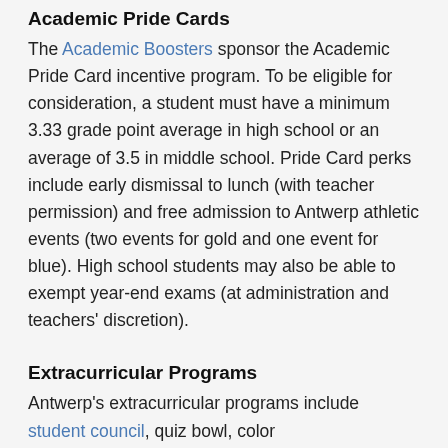Academic Pride Cards
The Academic Boosters sponsor the Academic Pride Card incentive program. To be eligible for consideration, a student must have a minimum 3.33 grade point average in high school or an average of 3.5 in middle school. Pride Card perks include early dismissal to lunch (with teacher permission) and free admission to Antwerp athletic events (two events for gold and one event for blue). High school students may also be able to exempt year-end exams (at administration and teachers' discretion).
Extracurricular Programs
Antwerp's extracurricular programs include student council, quiz bowl, color